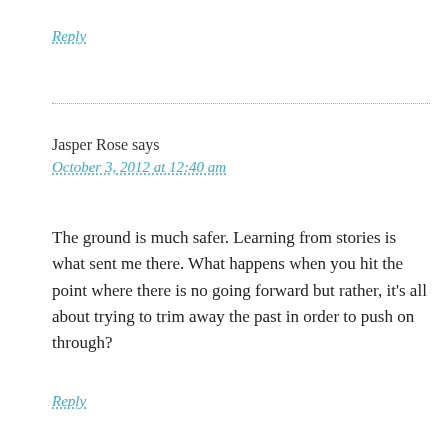Reply
Jasper Rose says
October 3, 2012 at 12:40 am
The ground is much safer. Learning from stories is what sent me there. What happens when you hit the point where there is no going forward but rather, it's all about trying to trim away the past in order to push on through?
Reply